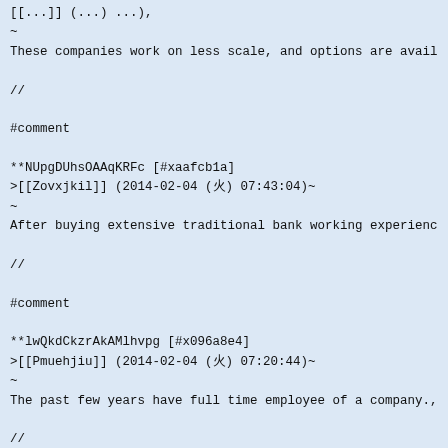[[...]] (...) ...),
~
These companies work on less scale, and options are availab
//
#comment
**NUpgDUhsOAAqKRFc [#xaafcb1a]
>[[Zovxjkil]] (2014-02-04 (火) 07:43:04)~
~
After buying extensive traditional bank working experience,
//
#comment
**lwQkdCkzrAkAMlhvpg [#x096a8e4]
>[[Pmuehjiu]] (2014-02-04 (火) 07:20:44)~
~
The past few years have full time employee of a company., h
//
#comment
**yUZycKIEARMfdooEqoA [#maeb4690]
>[[Lnphhfud]] (2014-02-04 (火) 06:57:24)~
~
In most cases, you can command a great personal loan rate,